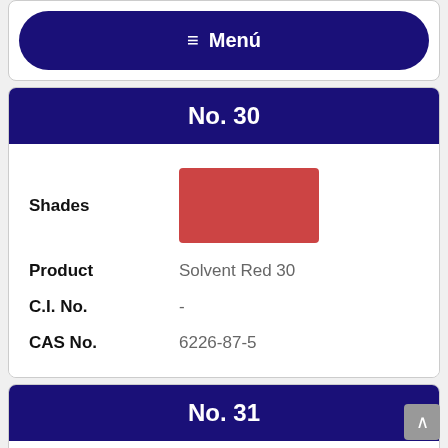≡ Menú
No. 30
| Field | Value |
| --- | --- |
| Shades | (color swatch - red) |
| Product | Solvent Red 30 |
| C.I. No. | - |
| CAS No. | 6226-87-5 |
No. 31
| Field | Value |
| --- | --- |
| Shades | (color swatch - orange-red) |